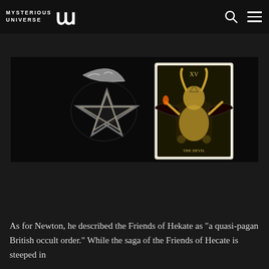MYSTERIOUS UNIVERSE [MU logo] — navigation bar with search and menu icons
reunion became she Persephone's minister and companion in Haides."
[Figure (photo): Two occult images side by side on black background: left shows a silver pentagram/crescent moon jewelry piece; right shows a tarot card depicting the Devil (Baphomet figure with horns, bat wings, seated on a throne)]
As for Newton, he described the Friends of Hekate as "a quasi-pagan British occult order." While the saga of the Friends of Hecate is steeped in